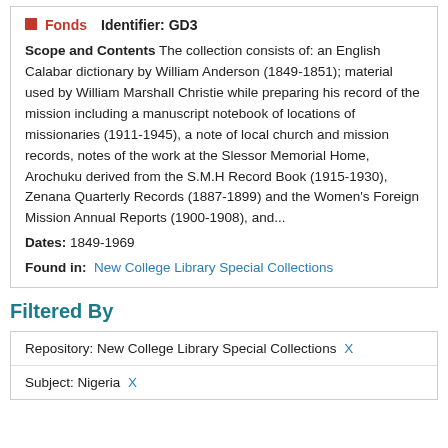Fonds   Identifier: GD3
Scope and Contents The collection consists of: an English Calabar dictionary by William Anderson (1849-1851); material used by William Marshall Christie while preparing his record of the mission including a manuscript notebook of locations of missionaries (1911-1945), a note of local church and mission records, notes of the work at the Slessor Memorial Home, Arochuku derived from the S.M.H Record Book (1915-1930), Zenana Quarterly Records (1887-1899) and the Women's Foreign Mission Annual Reports (1900-1908), and...
Dates: 1849-1969
Found in:  New College Library Special Collections
Filtered By
Repository: New College Library Special Collections X
Subject: Nigeria X